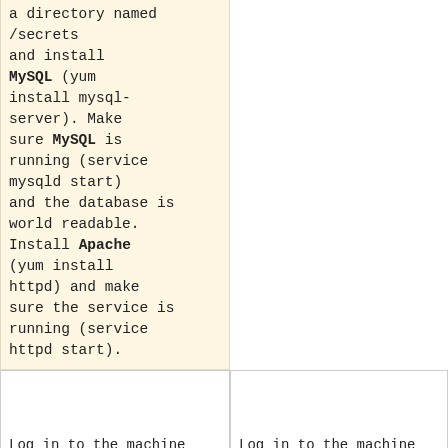a directory named <code>/secrets</code> and install '''MySQL''' (<code>yum install mysql-server</code>). Make sure '''MySQL''' is running (<code>service mysqld start</code>) and the database is world readable. Install '''Apache''' (<code>yum install httpd</code>) and make sure the service is running (<code>service httpd start</code>).
Log in to the machine and try the following:
Log in to the machine and try the following: